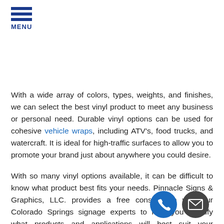MENU
With a wide array of colors, types, weights, and finishes, we can select the best vinyl product to meet any business or personal need. Durable vinyl options can be used for cohesive vehicle wraps, including ATV's, food trucks, and watercraft. It is ideal for high-traffic surfaces to allow you to promote your brand just about anywhere you could desire.
With so many vinyl options available, it can be difficult to know what product best fits your needs. Pinnacle Signs & Graphics, LLC. provides a free consultation with our Colorado Springs signage experts to help you identify what products and applications will best suit your business, brand, and goals with a focus on maximizing visibility and